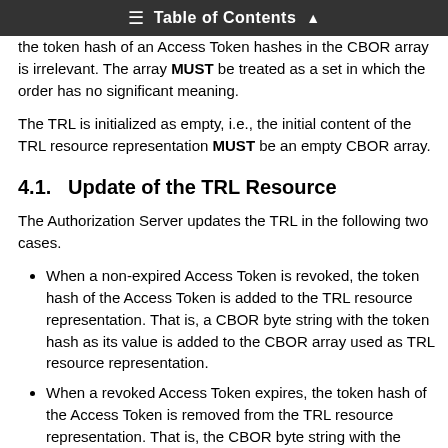Table of Contents
the token hash of an Access Token hashes in the CBOR array is irrelevant. The array MUST be treated as a set in which the order has no significant meaning.
The TRL is initialized as empty, i.e., the initial content of the TRL resource representation MUST be an empty CBOR array.
4.1.   Update of the TRL Resource
The Authorization Server updates the TRL in the following two cases.
When a non-expired Access Token is revoked, the token hash of the Access Token is added to the TRL resource representation. That is, a CBOR byte string with the token hash as its value is added to the CBOR array used as TRL resource representation.
When a revoked Access Token expires, the token hash of the Access Token is removed from the TRL resource representation. That is, the CBOR byte string with the